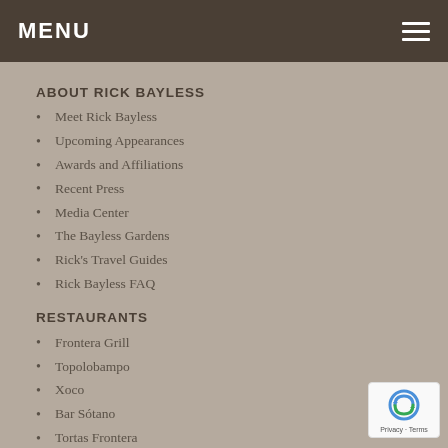MENU
ABOUT RICK BAYLESS
Meet Rick Bayless
Upcoming Appearances
Awards and Affiliations
Recent Press
Media Center
The Bayless Gardens
Rick's Travel Guides
Rick Bayless FAQ
RESTAURANTS
Frontera Grill
Topolobampo
Xoco
Bar Sótano
Tortas Frontera
Frontera Cocina
Tortazo
Private Dining & Catering
TV & BOOKS
Shop Cookbooks
[Figure (logo): reCAPTCHA badge with logo and Privacy/Terms text]